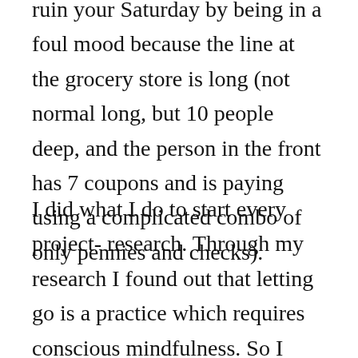ruin your Saturday by being in a foul mood because the line at the grocery store is long (not normal long, but 10 people deep, and the person in the front has 7 coupons and is paying using a complicated combo of only pennies and checks).
I did what I do to start every project- research. Through my research I found out that letting go is a practice which requires conscious mindfulness. So I practiced- starting with the small things like the aforementioned grocery store queue or someone cutting me off in traffic. Using a helpful mantra: “Breathing in I calm my body, breathing out I’m peace,” I